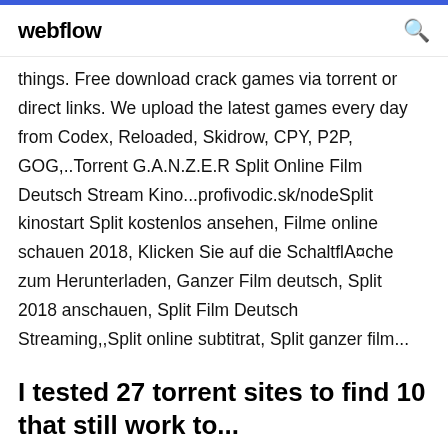webflow  🔍
things. Free download crack games via torrent or direct links. We upload the latest games every day from Codex, Reloaded, Skidrow, CPY, P2P, GOG,..Torrent G.A.N.Z.E.R Split Online Film Deutsch Stream Kino...profivodic.sk/nodeSplit kinostart Split kostenlos ansehen, Filme online schauen 2018, Klicken Sie auf die SchaltflA¤che zum Herunterladen, Ganzer Film deutsch, Split 2018 anschauen, Split Film Deutsch Streaming,,Split online subtitrat, Split ganzer film...
I tested 27 torrent sites to find 10 that still work to...